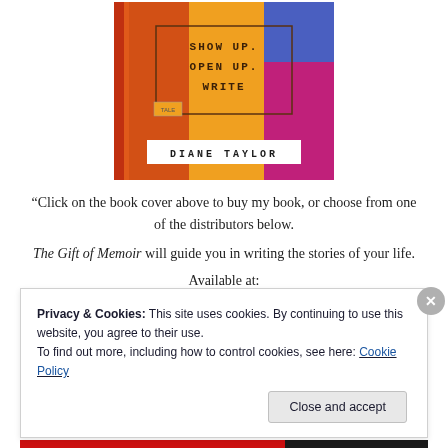[Figure (illustration): Book cover of 'The Gift of Memoir' by Diane Taylor with colorful abstract background in orange, red, and pink with text: SHOW UP. OPEN UP. WRITE]
“Click on the book cover above to buy my book, or choose from one of the distributors below.
The Gift of Memoir will guide you in writing the stories of your life.
Available at:
Privacy & Cookies: This site uses cookies. By continuing to use this website, you agree to their use.
To find out more, including how to control cookies, see here: Cookie Policy
Close and accept